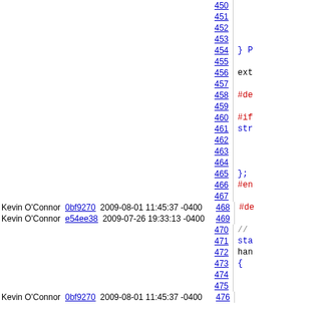| Author | Commit | Date | Line | Code |
| --- | --- | --- | --- | --- |
|  |  | 450 |  |
|  |  | 451 |  |
|  |  | 452 |  |
|  |  | 453 |  |
|  |  | 454 | } P |
|  |  | 455 |  |
|  |  | 456 | ext |
|  |  | 457 |  |
|  |  | 458 | #de |
|  |  | 459 |  |
|  |  | 460 | #if |
|  |  | 461 | str |
|  |  | 462 |  |
|  |  | 463 |  |
|  |  | 464 |  |
|  |  | 465 | }; |
|  |  | 466 | #en |
|  |  | 467 |  |
| Kevin O'Connor | 0bf9270 | 2009-08-01 11:45:37 -0400 [diff] [blame] | 468 | #de |
| Kevin O'Connor | e54ee38 | 2009-07-26 19:33:13 -0400 [diff] [blame] | 469 |  |
|  |  | 470 | // |
|  |  | 471 | sta |
|  |  | 472 | han |
|  |  | 473 | { |
|  |  | 474 |  |
|  |  | 475 |  |
| Kevin O'Connor | 0bf9270 | 2009-08-01 11:45:37 -0400 [diff] [blame] | 476 |  |